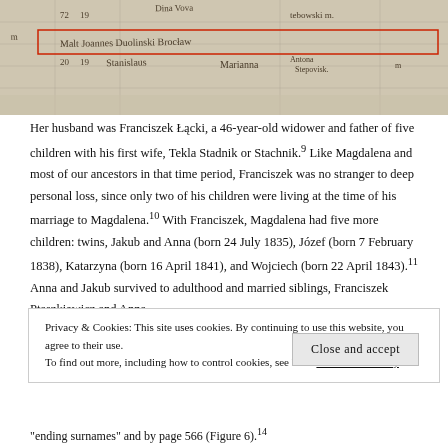[Figure (photo): Scanned historical document page showing handwritten records in cursive script, with a red rectangular highlight overlaid on one row of the register.]
Her husband was Franciszek Łącki, a 46-year-old widower and father of five children with his first wife, Tekla Stadnik or Stachnik.⁹ Like Magdalena and most of our ancestors in that time period, Franciszek was no stranger to deep personal loss, since only two of his children were living at the time of his marriage to Magdalena.¹⁰ With Franciszek, Magdalena had five more children: twins, Jakub and Anna (born 24 July 1835), Józef (born 7 February 1838), Katarzyna (born 16 April 1841), and Wojciech (born 22 April 1843).¹¹ Anna and Jakub survived to adulthood and married siblings, Franciszek Ptaszkiewicz and Anna
Privacy & Cookies: This site uses cookies. By continuing to use this website, you agree to their use.
To find out more, including how to control cookies, see here: Our Cookie Policy
Close and accept
"ending surnames" and by page 566 (Figure 6).¹⁴